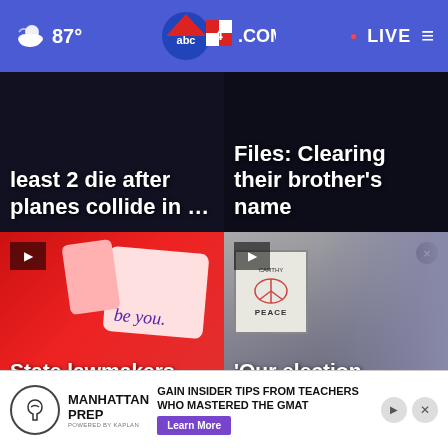87° abc4.COM LIVE
[Figure (screenshot): News thumbnail: text 'least 2 die after planes collide in ...' over dark background]
[Figure (screenshot): News thumbnail: text 'Files: Clearing their brother's name' over dark background]
[Figure (screenshot): News thumbnail with play button: 'be you.' card on red background with text 'State lawmakers debate Utah's ban on con...']
[Figure (screenshot): News thumbnail with play button: Mitt Romney speaking, text "'Our election security is real.' Sen. Mitt"]
[Figure (screenshot): Advertisement: Manhattan Prep - GAIN INSIDER TIPS FROM TEACHERS WHO MASTERED THE GMAT - Learn More]